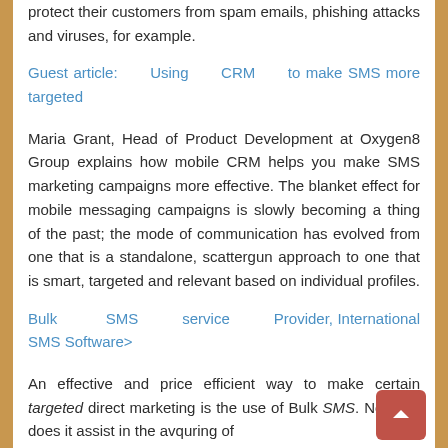protect their customers from spam emails, phishing attacks and viruses, for example.
Guest article: Using CRM to make SMS more targeted
Maria Grant, Head of Product Development at Oxygen8 Group explains how mobile CRM helps you make SMS marketing campaigns more effective. The blanket effect for mobile messaging campaigns is slowly becoming a thing of the past; the mode of communication has evolved from one that is a standalone, scattergun approach to one that is smart, targeted and relevant based on individual profiles.
Bulk SMS service Provider, International SMS Software>
An effective and price efficient way to make certain targeted direct marketing is the use of Bulk SMS. Not only does it assist in the avquring of